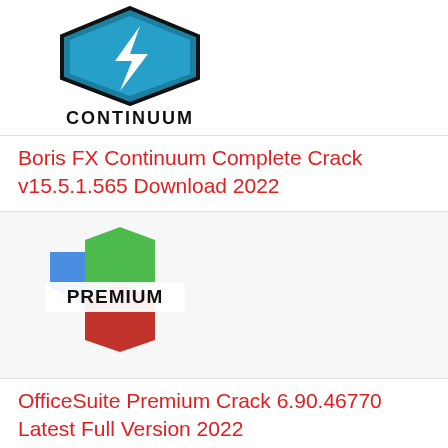[Figure (logo): Boris FX Continuum hexagonal shield logo in teal/dark blue with a white lightning bolt, with CONTINUUM text below]
Boris FX Continuum Complete Crack v15.5.1.565 Download 2022
[Figure (logo): OfficeSuite Premium logo with overlapping green, blue, and red hexagonal 3D shapes and PREMIUM text]
OfficeSuite Premium Crack 6.90.46770 Latest Full Version 2022
[Figure (logo): Blue rounded square icon with white document/file graphic and vstfull.com text overlaid in bold italic]